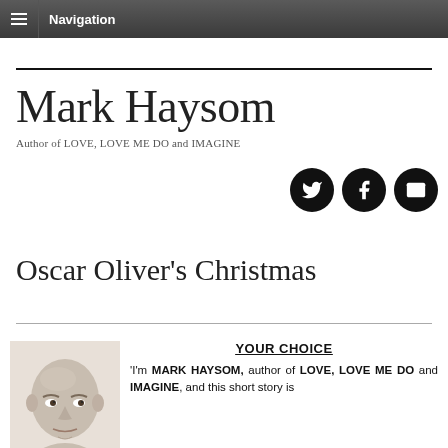Navigation
Mark Haysom
Author of LOVE, LOVE ME DO and IMAGINE
[Figure (illustration): Three circular social media icon buttons (Twitter bird, Facebook f, envelope/email) in black circles]
Oscar Oliver's Christmas
YOUR CHOICE
[Figure (photo): Author headshot - bald older man looking directly at camera]
'I'm MARK HAYSOM, author of LOVE, LOVE ME DO and IMAGINE, and this short story is